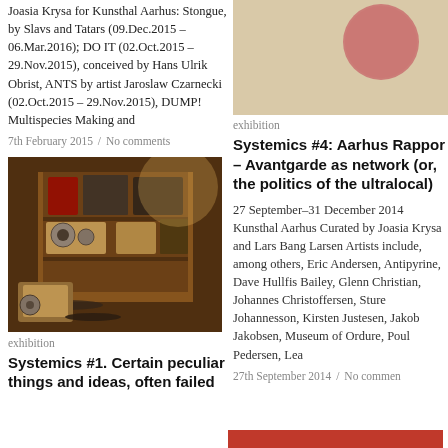Joasia Krysa for Kunsthal Aarhus: Stongue, by Slavs and Tatars (09.Dec.2015 – 06.Mar.2016); DO IT (02.Oct.2015 – 29.Nov.2015), conceived by Hans Ulrik Obrist, ANTS by artist Jaroslaw Czarnecki (02.Oct.2015 – 29.Nov.2015), DUMP! Multispecies Making and
7th February 2015 / No comments
[Figure (photo): Interior photo of a room with audio equipment including reel-to-reel tape recorders, speakers, and vinyl records on shelves and floor]
exhibition
Systemics #1. Certain peculiar things and ideas, often failed
[Figure (illustration): Artwork with beige/tan background and a pink-red circle in the upper area]
exhibition
Systemics #4: Aarhus Rapport – Avantgarde as network (or, the politics of the ultralocal)
27 September–31 December 2014 Kunsthal Aarhus Curated by Joasia Krysa and Lars Bang Larsen Artists include, among others, Eric Andersen, Antipyrine, Dave Hullfis Bailey, Glenn Christian, Johannes Christoffersen, Sture Johannesson, Kirsten Justesen, Jakob Jakobsen, Museum of Ordure, Poul Pedersen, Lea
27th September 2014 / No commen